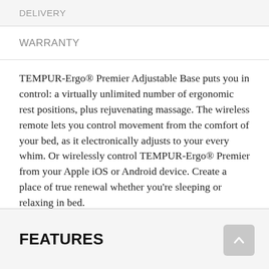DELIVERY
WARRANTY
TEMPUR-Ergo® Premier Adjustable Base puts you in control: a virtually unlimited number of ergonomic rest positions, plus rejuvenating massage. The wireless remote lets you control movement from the comfort of your bed, as it electronically adjusts to your every whim. Or wirelessly control TEMPUR-Ergo® Premier from your Apple iOS or Android device. Create a place of true renewal whether you're sleeping or relaxing in bed.
FEATURES